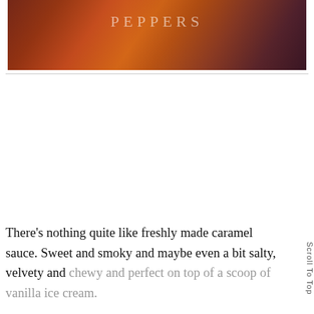[Figure (photo): Dark background image of colorful peppers with the word PEPPERS in light text overlay]
There's nothing quite like freshly made caramel sauce. Sweet and smoky and maybe even a bit salty, velvety and chewy and perfect on top of a scoop of vanilla ice cream. But do you know about cajeta?